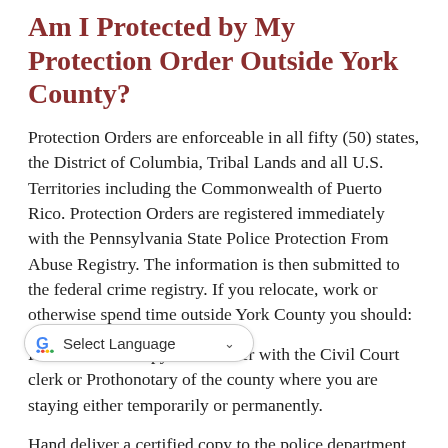Am I Protected by My Protection Order Outside York County?
Protection Orders are enforceable in all fifty (50) states, the District of Columbia, Tribal Lands and all U.S. Territories including the Commonwealth of Puerto Rico. Protection Orders are registered immediately with the Pennsylvania State Police Protection From Abuse Registry. The information is then submitted to the federal crime registry. If you relocate, work or otherwise spend time outside York County you should:
File a certified copy of the order with the Civil Court clerk or Prothonotary of the county where you are staying either temporarily or permanently.
Hand deliver a certified copy to the police department that covers the area where you are located either temporarily or permanently.